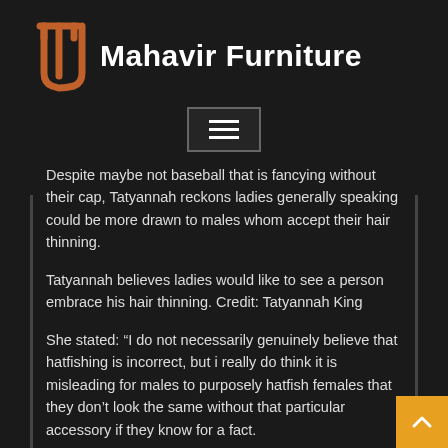[Figure (logo): Mahavir Furniture logo with orange trident/tuning fork icon and white bold text 'Mahavir Furniture' on dark background]
[Figure (other): Hamburger menu button with three horizontal lines on dark background with border]
Despite maybe not baseball that is fancying without their cap, Tatyannah reckons ladies generally speaking could be more drawn to males whom accept their hair thinning.
Tatyannah believes ladies would like to see a person embrace his hair thinning. Credit: Tatyannah King
She stated: “I do not necessarily genuinely believe that hatfishing is incorrect, but i really do think it is misleading for males to purposely hatfish females that they don’t look the same without that particular accessory if they know for a fact.